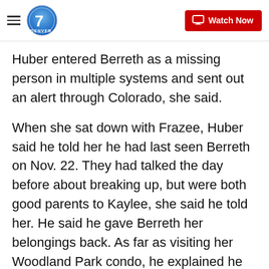Denver7 — Watch Now
Huber entered Berreth as a missing person in multiple systems and sent out an alert through Colorado, she said.
When she sat down with Frazee, Huber said he told her he had last seen Berreth on Nov. 22. They had talked the day before about breaking up, but were both good parents to Kaylee, she said he told her. He said he gave Berreth her belongings back. As far as visiting her Woodland Park condo, he explained he had gone to the home on Nov. 22 to pick up Kaylee, but Berreth wasn't there, so he ran some errands and returned later that day. They exchanged the child in the alley, he told Huber. He then left, Huber said.